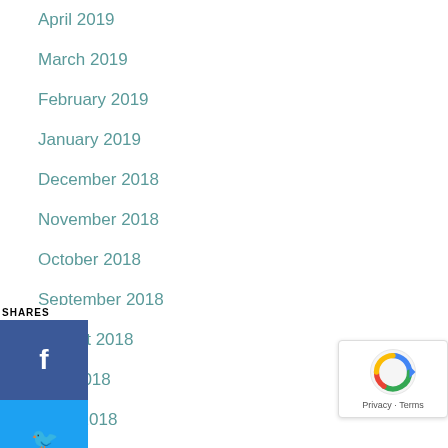April 2019
March 2019
February 2019
January 2019
December 2018
November 2018
October 2018
September 2018
August 2018
July 2018
June 2018
May 2018
April 2018
March 2018